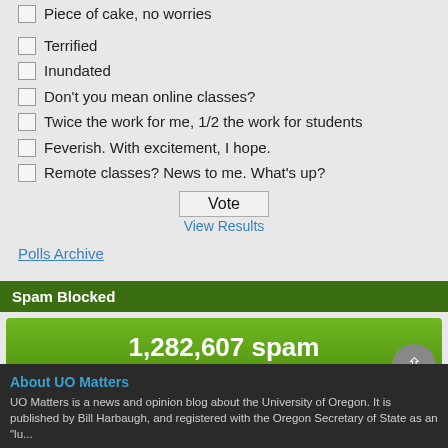Piece of cake, no worries
Terrified
Inundated
Don't you mean online classes?
Twice the work for me, 1/2 the work for students
Feverish. With excitement, I hope.
Remote classes? News to me. What's up?
Vote
View Results
Polls Archive
Spam Blocked
1,282,607 spam
Blocked by Akismet
About UO Matters
UO Matters is a news and opinion blog about the University of Oregon. It is published by Bill Harbaugh, and registered with the Oregon Secretary of State as an "lu...